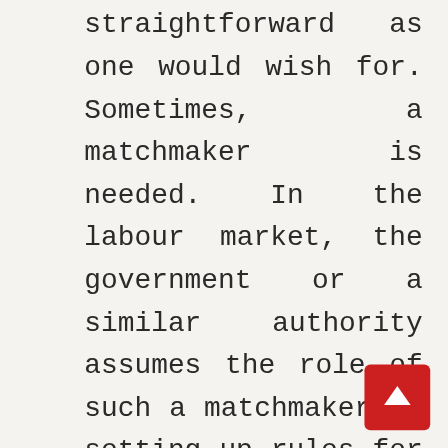straightforward as one would wish for. Sometimes, a matchmaker is needed. In the labour market, the government or a similar authority assumes the role of such a matchmaker by setting up rules for labour market to function properly. The European Union is also such a matchmaker but its performance in matchmaking is not very satisfactory. The European labour market is characterized by a terrible mismatch between the needs of the market and what universities produce, which is additionally reinforced by the consequences of outsourcing. This phenomenon is not a problem of only Eastern and Central Europe anymore,